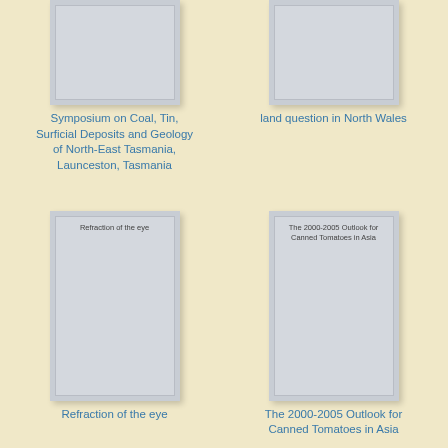[Figure (illustration): Book cover thumbnail (partially cropped at top) for Symposium on Coal, Tin, Surficial Deposits and Geology of North-East Tasmania, Launceston, Tasmania]
Symposium on Coal, Tin, Surficial Deposits and Geology of North-East Tasmania, Launceston, Tasmania
[Figure (illustration): Book cover thumbnail (partially cropped at top) for land question in North Wales]
land question in North Wales
[Figure (illustration): Book cover thumbnail for Refraction of the eye]
Refraction of the eye
[Figure (illustration): Book cover thumbnail for The 2000-2005 Outlook for Canned Tomatoes in Asia]
The 2000-2005 Outlook for Canned Tomatoes in Asia